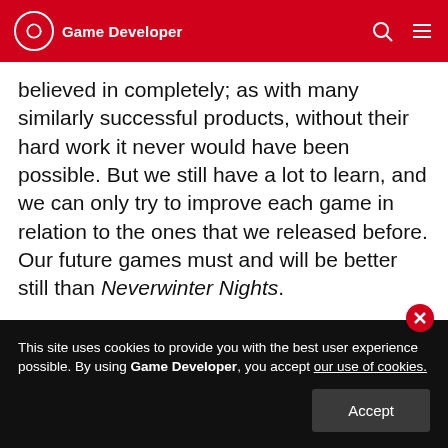Game Developer
believed in completely; as with many similarly successful products, without their hard work it never would have been possible. But we still have a lot to learn, and we can only try to improve each game in relation to the ones that we released before. Our future games must and will be better still than Neverwinter Nights.
Our hope is that the game will help open – and keep open – the door to user-created content for role-playing games. So far things seem to be going well in
This site uses cookies to provide you with the best user experience possible. By using Game Developer, you accept our use of cookies.